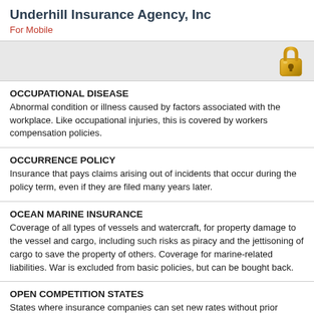Underhill Insurance Agency, Inc
For Mobile
OCCUPATIONAL DISEASE
Abnormal condition or illness caused by factors associated with the workplace. Like occupational injuries, this is covered by workers compensation policies.
OCCURRENCE POLICY
Insurance that pays claims arising out of incidents that occur during the policy term, even if they are filed many years later.
OCEAN MARINE INSURANCE
Coverage of all types of vessels and watercraft, for property damage to the vessel and cargo, including such risks as piracy and the jettisoning of cargo to save the property of others. Coverage for marine-related liabilities. War is excluded from basic policies, but can be bought back.
OPEN COMPETITION STATES
States where insurance companies can set new rates without prior approval, although the state's commissioner can disallow them if they are not reasonable and adequate or are discriminatory.
OPERATING EXPENSES